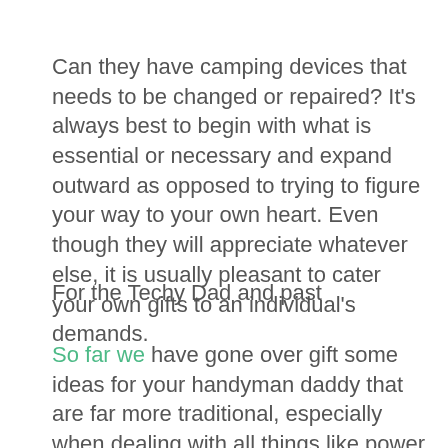Can they have camping devices that needs to be changed or repaired? It's always best to begin with what is essential or necessary and expand outward as opposed to trying to figure your way to your own heart. Even though they will appreciate whatever else, it is usually pleasant to cater your own gifts to an individual's demands.
For the Techy Dad and past
So far we have gone over gift some ideas for your handyman daddy that are far more traditional, especially when dealing with all things like power tools, outdoor gear, and custom made t shirts. But what about the dads that work in the world? The dads that are engineers, but instead of dealing with automobiles or machinery they